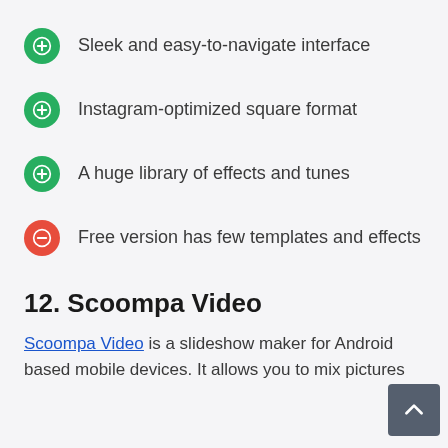Sleek and easy-to-navigate interface
Instagram-optimized square format
A huge library of effects and tunes
Free version has few templates and effects
12. Scoompa Video
Scoompa Video is a slideshow maker for Android based mobile devices. It allows you to mix pictu…